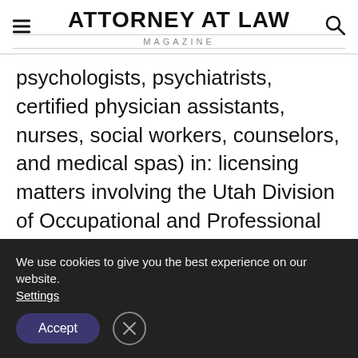ATTORNEY AT LAW MAGAZINE
psychologists, psychiatrists, certified physician assistants, nurses, social workers, counselors, and medical spas) in: licensing matters involving the Utah Division of Occupational and Professional Licensing (“DOPL”); medical malpractice or negligence cases in both Federal and State Court; and privileging matters at numerous hospitals across the State of Utah. In addition, Ms. Kyte has assisted with health care
We use cookies to give you the best experience on our website. Settings